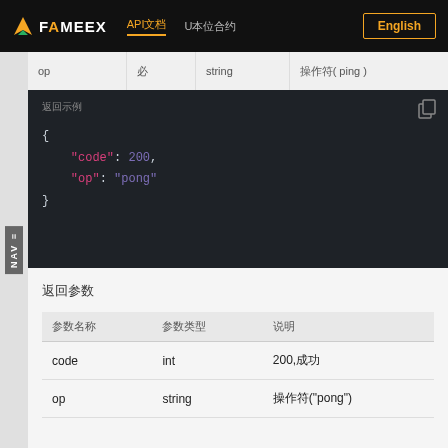FAMEEX  API文档  U本位合约  English
| op | 必选 | string | 操作符(ping) |
| --- | --- | --- | --- |
返回示例
[Figure (screenshot): JSON code block showing: { "code": 200, "op": "pong" }]
返回参数
| 参数名称 | 参数类型 | 说明 |
| --- | --- | --- |
| code | int | 200,成功 |
| op | string | 操作符("pong") |